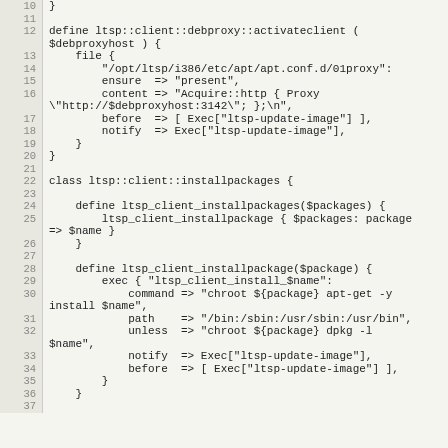[Figure (screenshot): Code editor screenshot showing Puppet/Ruby code for ltsp::client::debproxy::activateclient and ltsp::client::installpackages classes, lines 10-37]